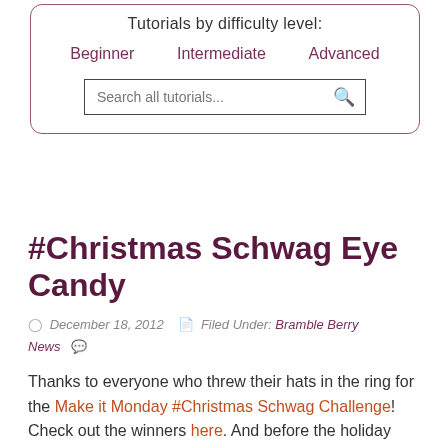Tutorials by difficulty level:
Beginner
Intermediate
Advanced
Search all tutorials...
#Christmas Schwag Eye Candy
December 18, 2012   Filed Under: Bramble Berry News
Thanks to everyone who threw their hats in the ring for the Make it Monday #Christmas Schwag Challenge! Check out the winners here. And before the holiday season sneaks away from us just as quickly as it approached, I thought you'd enjoy a peek at the over